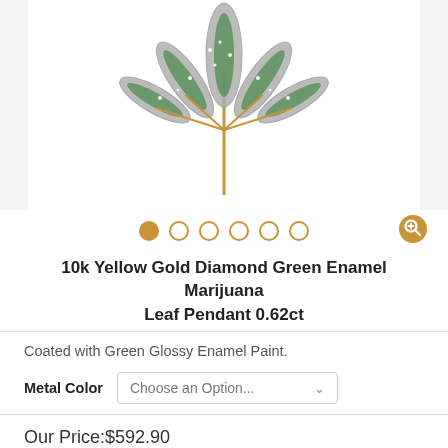[Figure (photo): Close-up photo of a 10k yellow gold diamond green enamel marijuana leaf pendant with pavé-set diamonds and green enamel detailing on a white background]
10k Yellow Gold Diamond Green Enamel Marijuana Leaf Pendant 0.62ct
Coated with Green Glossy Enamel Paint.
Metal Color   Choose an Option...
Our Price: $592.90
Estimated Retail Price: $1,280.00